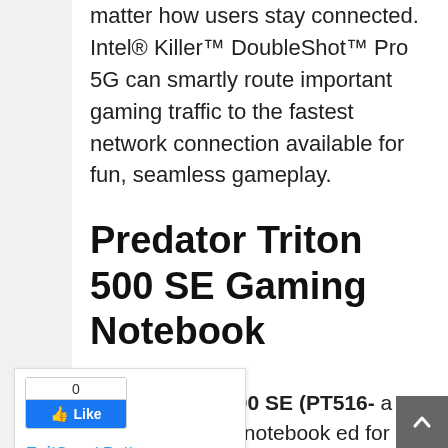matter how users stay connected. Intel® Killer™ DoubleShot™ Pro 5G can smartly route important gaming traffic to the fastest network connection available for fun, seamless gameplay.
Predator Triton 500 SE Gaming Notebook
[Figure (screenshot): Facebook Like button with count 0, TwitCount Button, and LinkedIn Share button in a social sharing widget panel]
edator Triton 500 SE (PT516- a "special edition" notebook ed for gamers who want a ……….ne capable of getting through both the latest AAA games and the workday. Powered by up to an 11th